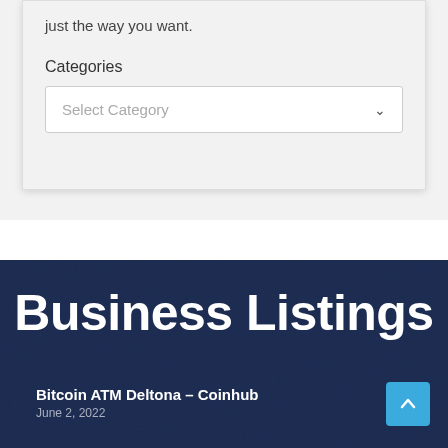just the way you want.
Categories
Select Category
Business Listings
Bitcoin ATM Deltona – Coinhub
June 2, 2022